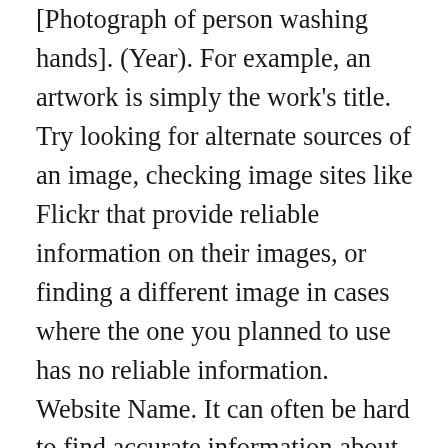[Photograph of person washing hands]. (Year). For example, an artwork is simply the work's title. Try looking for alternate sources of an image, checking image sites like Flickr that provide reliable information on their images, or finding a different image in cases where the one you planned to use has no reliable information. Website Name. It can often be hard to find accurate information about images accessed online. If you viewed an image in person rather than online—for example in a museum or gallery, or in another text—the source information is different. This guide is in Beta mode, and some links and pages will become available shortly. Citations for images sourced from a print publication such as a